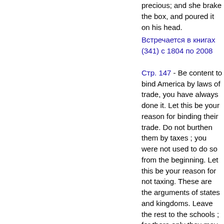precious; and she brake the box, and poured it on his head.
Встречается в книгах (341) с 1804 по 2008
Стр. 147 - Be content to bind America by laws of trade, you have always done it. Let this be your reason for binding their trade. Do not burthen them by taxes ; you were not used to do so from the beginning. Let this be your reason for not taxing. These are the arguments of states and kingdoms. Leave the rest to the schools ; for there only they may be discussed with safety.
Встречается в книгах